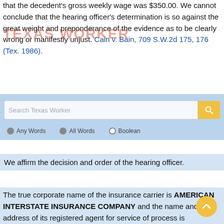that the decedent's gross weekly wage was $350.00. We cannot conclude that the hearing officer's determination is so against the great weight and preponderance of the evidence as to be clearly wrong or manifestly unjust. Cain v. Bain, 709 S.W.2d 175, 176 (Tex. 1986).
We affirm the decision and order of the hearing officer.
The true corporate name of the insurance carrier is AMERICAN INTERSTATE INSURANCE COMPANY and the name and address of its registered agent for service of process is
MR. STEVE ROPER
1616 SOUTH CHESTNUT STREET
LUFKIN, TEXAS 75902.
Edward Vilano